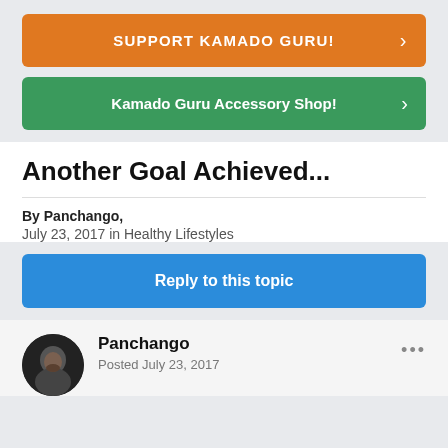[Figure (other): Orange button with text SUPPORT KAMADO GURU! and right arrow]
[Figure (other): Green button with text Kamado Guru Accessory Shop! and right arrow]
Another Goal Achieved...
By Panchango,
July 23, 2017 in Healthy Lifestyles
[Figure (other): Blue Reply to this topic button]
Panchango
Posted July 23, 2017